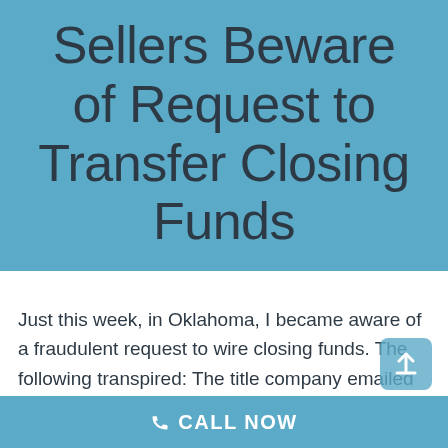Sellers Beware of Request to Transfer Closing Funds
Just this week, in Oklahoma, I became aware of a fraudulent request to wire closing funds. The following transpired: The title company emailed the real estate agent the settlement statement for review.  The real estate agent downloaded the
CALL NOW